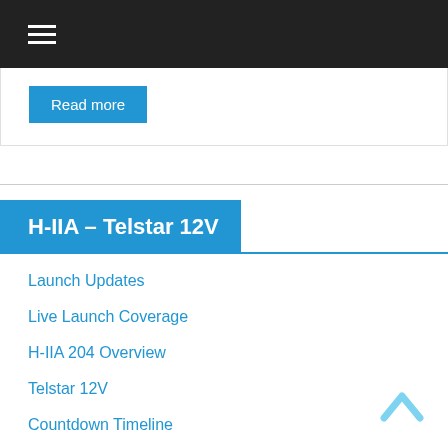Read more
H-IIA – Telstar 12V
Launch Updates
Live Launch Coverage
H-IIA 204 Overview
Telstar 12V
Countdown Timeline
Flight Profile
Japanese Archive